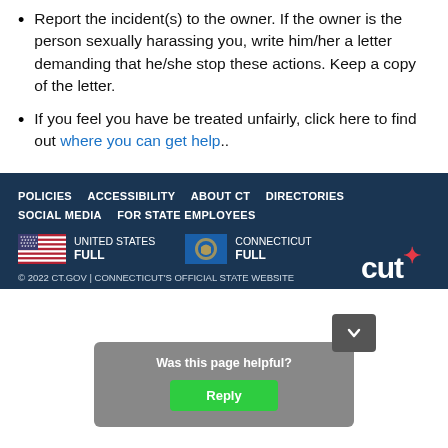Report the incident(s) to the owner. If the owner is the person sexually harassing you, write him/her a letter demanding that he/she stop these actions. Keep a copy of the letter.
If you feel you have be treated unfairly, click here to find out where you can get help..
POLICIES  ACCESSIBILITY  ABOUT CT  DIRECTORIES  SOCIAL MEDIA  FOR STATE EMPLOYEES  UNITED STATES FULL  CONNECTICUT FULL  © 2022 CT.GOV | CONNECTICUT'S OFFICIAL STATE WEBSITE